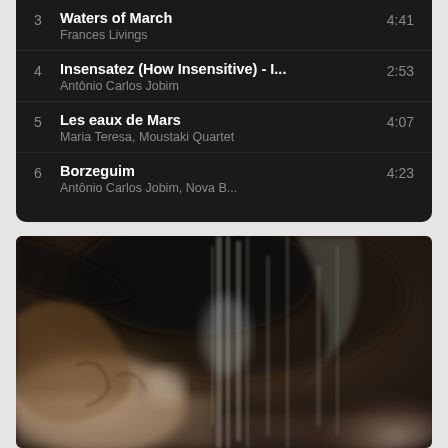3  Waters of March  4:41
Frances Livings
4  Insensatez (How Insensitive) - I...  2:53
Antônio Carlos Jobim
5  Les eaux de Mars  4:07
Maria Teresa, Moustaki Quartet
6  Borzeguim  4:23
Antônio Carlos Jobim, Nova B...
[Figure (illustration): Abstract painterly artwork with swirling dark browns, grays, and whites suggesting stormy skies or turbulent water, reminiscent of a Turner-style oil painting.]